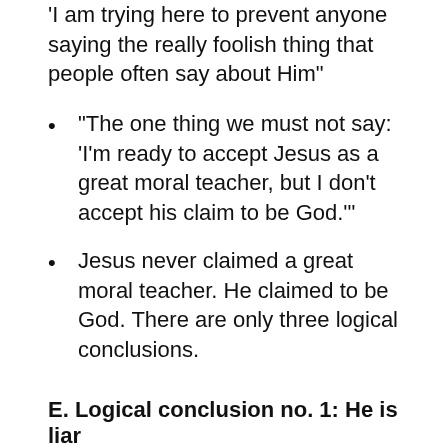'I am trying here to prevent anyone saying the really foolish thing that people often say about Him"
"The one thing we must not say: 'I'm ready to accept Jesus as a great moral teacher, but I don't accept his claim to be God.'"
Jesus never claimed a great moral teacher. He claimed to be God. There are only three logical conclusions.
E. Logical conclusion no. 1: He is liar
He said He was God and He knew He wasn't.
What's the problem with this